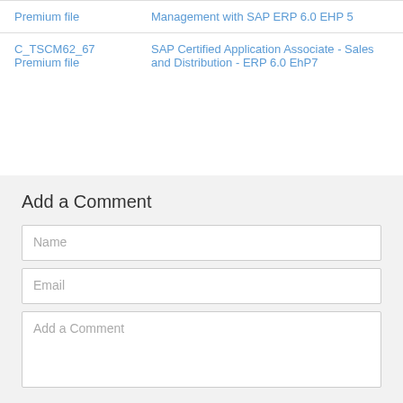|  |  |
| --- | --- |
| Premium file | Management with SAP ERP 6.0 EHP 5 |
| C_TSCM62_67
Premium file | SAP Certified Application Associate - Sales and Distribution - ERP 6.0 EhP7 |
Add a Comment
Name
Email
Add a Comment